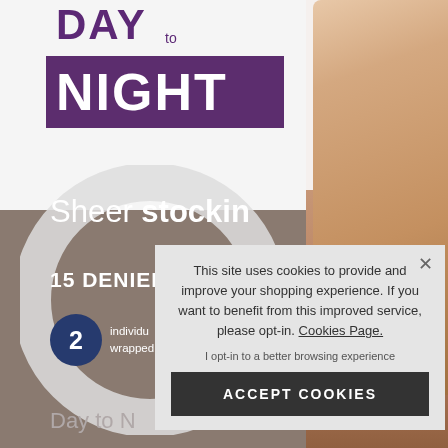[Figure (photo): Product packaging image for Day to Night sheer stockings, 15 denier, showing a leg and purple/taupe product box with brush stroke circle design]
DAY to NIGHT
Sheer stocking
15 DENIER
2 individually wrapped
Day to N
This site uses cookies to provide and improve your shopping experience. If you want to benefit from this improved service, please opt-in. Cookies Page.
I opt-in to a better browsing experience
ACCEPT COOKIES